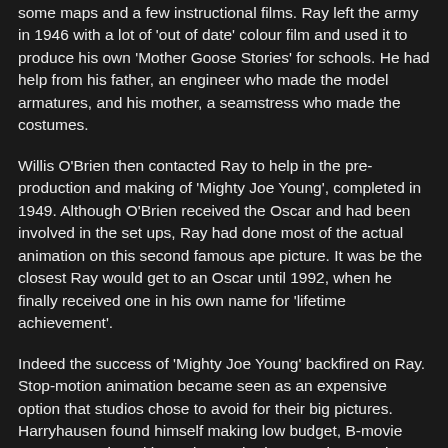some maps and a few instructional films. Ray left the army in 1946 with a lot of 'out of date' colour film and used it to produce his own 'Mother Goose Stories' for schools. He had help from his father, an engineer who made the model armatures, and his mother, a seamstress who made the costumes.
Willis O'Brien then contacted Ray to help in the pre-production and making of 'Mighty Joe Young', completed in 1949. Although O'Brien received the Oscar and had been involved in the set ups, Ray had done most of the actual animation on this second famous ape picture. It was be the closest Ray would get to an Oscar until 1992, when he finally received one in his own name for 'lifetime achievement'.
Indeed the success of 'Mighty Joe Young' backfired on Ray. Stop-motion animation became seen as an expensive option that studios chose to avoid for their big pictures. Harryhausen found himself making low budget, B-movie monster movies with Producer Charles H. Schneer, who was to work in partnership with Ray for the next 25 years. Of the octopus in the 1955 film 'It came from Beneath the Sea' Ray says "The budget was so low I had to cut off 2 tentacles - so he was actually a sextopus." With budgets so small that the actors were often unknown, the positive side, as Schneer explained, was "we had full control, artistic control, without any